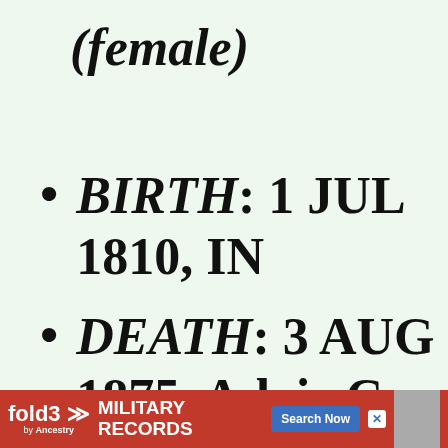(female)
BIRTH: 1 JUL 1810, IN
DEATH: 3 AUG 1875, Adair Co
[Figure (other): Advertisement banner for fold3 Military Records by Ancestry with Search Now button]